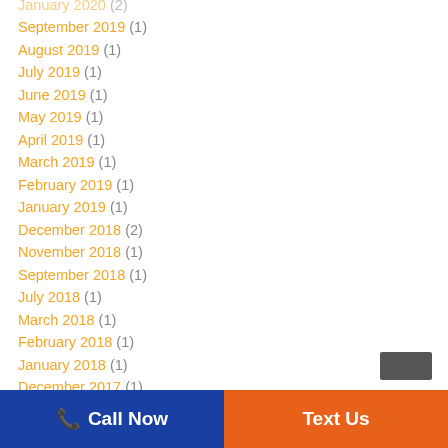January 2020 (2)
September 2019 (1)
August 2019 (1)
July 2019 (1)
June 2019 (1)
May 2019 (1)
April 2019 (1)
March 2019 (1)
February 2019 (1)
January 2019 (1)
December 2018 (2)
November 2018 (1)
September 2018 (1)
July 2018 (1)
March 2018 (1)
February 2018 (1)
January 2018 (1)
December 2017 (1)
November 2017 (1)
Call Now   Text Us